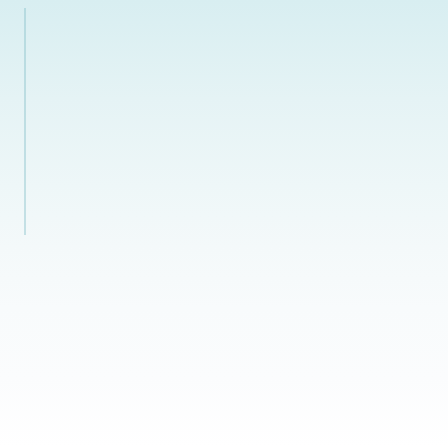[Figure (other): Mostly blank page with light blue-green gradient background in the upper portion fading to white toward the bottom. A faint vertical accent line appears on the left side of the upper panel. The page appears to be a near-empty document page with subtle color gradient background.]